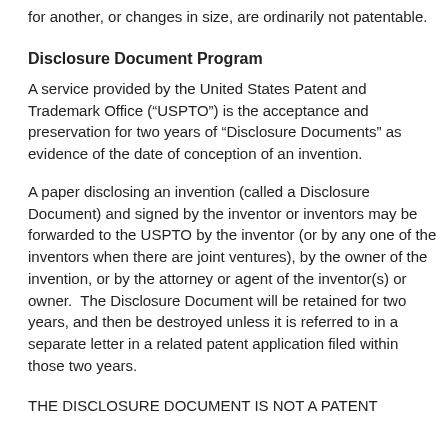for another, or changes in size, are ordinarily not patentable.
Disclosure Document Program
A service provided by the United States Patent and Trademark Office (“USPTO”) is the acceptance and preservation for two years of “Disclosure Documents” as evidence of the date of conception of an invention.
A paper disclosing an invention (called a Disclosure Document) and signed by the inventor or inventors may be forwarded to the USPTO by the inventor (or by any one of the inventors when there are joint ventures), by the owner of the invention, or by the attorney or agent of the inventor(s) or owner.  The Disclosure Document will be retained for two years, and then be destroyed unless it is referred to in a separate letter in a related patent application filed within those two years.
THE DISCLOSURE DOCUMENT IS NOT A PATENT